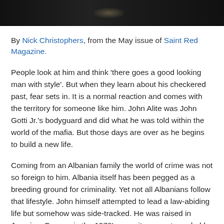[Figure (photo): Dark/black image bar showing a partial figure, appears to be a person against a dark background, only a small portion visible at top of page.]
By Nick Christophers, from the May issue of Saint Red Magazine.
People look at him and think 'there goes a good looking man with style'. But when they learn about his checkered past, fear sets in. It is a normal reaction and comes with the territory for someone like him. John Alite was John Gotti Jr.'s bodyguard and did what he was told within the world of the mafia. But those days are over as he begins to build a new life.
Coming from an Albanian family the world of crime was not so foreign to him. Albania itself has been pegged as a breeding ground for criminality. Yet not all Albanians follow that lifestyle. John himself attempted to lead a law-abiding life but somehow was side-tracked. He was raised in Jamaica, Queens in the 1970's were it was a strong-hold for the mob.